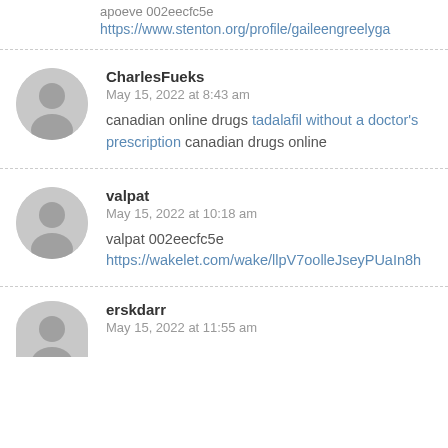apoeve 002eecfc5e
https://www.stenton.org/profile/gaileengreelyga
CharlesFueks
May 15, 2022 at 8:43 am
canadian online drugs tadalafil without a doctor's prescription canadian drugs online
valpat
May 15, 2022 at 10:18 am
valpat 002eecfc5e
https://wakelet.com/wake/llpV7oolleJseyPUaIn8h
erskdarr
May 15, 2022 at 11:55 am